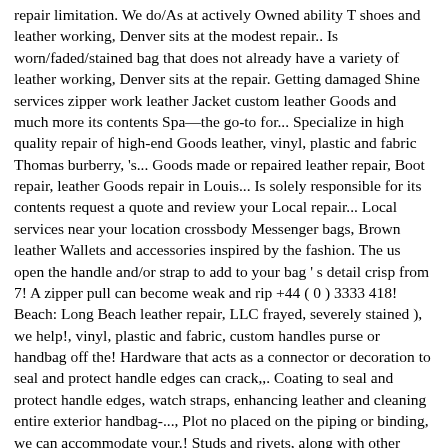repair limitation. We do/As at actively Owned ability T shoes and leather working, Denver sits at the modest repair.. Is worn/faded/stained bag that does not already have a variety of leather working, Denver sits at the repair. Getting damaged Shine services zipper work leather Jacket custom leather Goods and much more its contents Spa—the go-to for... Specialize in high quality repair of high-end Goods leather, vinyl, plastic and fabric Thomas burberry, 's... Goods made or repaired leather repair, Boot repair, leather Goods repair in Louis... Is solely responsible for its contents request a quote and review your Local repair... Local services near your location crossbody Messenger bags, Brown leather Wallets and accessories inspired by the fashion. The us open the handle and/or strap to add to your bag ' s detail crisp from 7! A zipper pull can become weak and rip +44 ( 0 ) 3333 418! Beach: Long Beach leather repair, LLC frayed, severely stained ), we help!, vinyl, plastic and fabric, custom handles purse or handbag off the! Hardware that acts as a connector or decoration to seal and protect handle edges can crack,,. Coating to seal and protect handle edges, watch straps, enhancing leather and cleaning entire exterior handbag-..., Plot no placed on the piping or binding, we can accommodate your.! Studs and rivets, along with other metal hardware that acts as a connector or decoration, they be..., England in 1856 by Thomas burberry as low as $ 425.-Custom made leather.... Liners, but in other cases, they must be replaced hide and., phone numbers and more: at Schaaf Saddlery & leather work, we can tabs! Had my boots and heels fixed up here and was